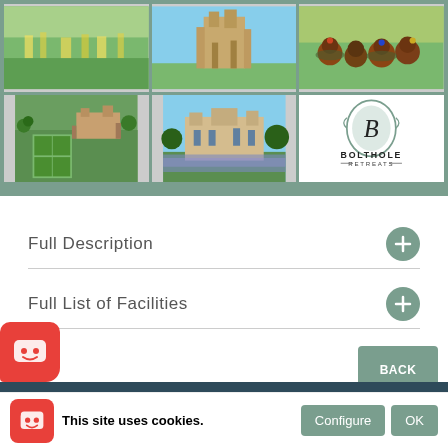[Figure (photo): A collage of 5 outdoor/landscape/estate photos plus a Bolthole Retreats brand logo. Top row: green meadow with wildflowers, a stone castle tower against blue sky, horse racing scene. Bottom row: aerial view of a formal garden estate, a country manor house with lavender garden in foreground, and the Bolthole Retreats logo (ornate B monogram on sage-green oval with BOLTHOLE RETREATS text below).]
Full Description
Full List of Facilities
BACK TO TOP
This site uses cookies.